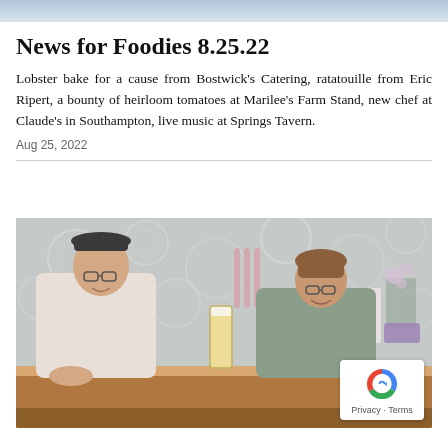[Figure (photo): Top strip showing a partial image, likely an outdoor or food-related scene with blue-grey tones]
News for Foodies 8.25.22
Lobster bake for a cause from Bostwick's Catering, ratatouille from Eric Ripert, a bounty of heirloom tomatoes at Marilee's Farm Stand, new chef at Claude's in Southampton, live music at Springs Tavern.
Aug 25, 2022
[Figure (photo): Two people standing behind a bar counter smiling. A man on the left wearing a cap and light button-down shirt, and a woman on the right in a sleeveless camouflage top holding a tall glass of beer. Decorative floral wallpaper and beer taps in the background.]